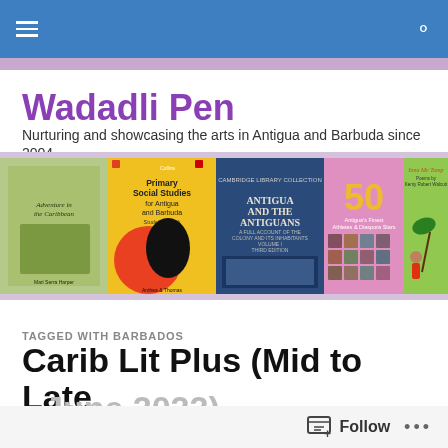Wadadli Pen — navigation bar
[Figure (screenshot): Website banner showing five book covers related to Caribbean/Antiguan literature and culture]
Wadadli Pen
Nurturing and showcasing the arts in Antigua and Barbuda since 2004
TAGGED WITH BARBADOS
Carib Lit Plus (Mid to Late June 2022)